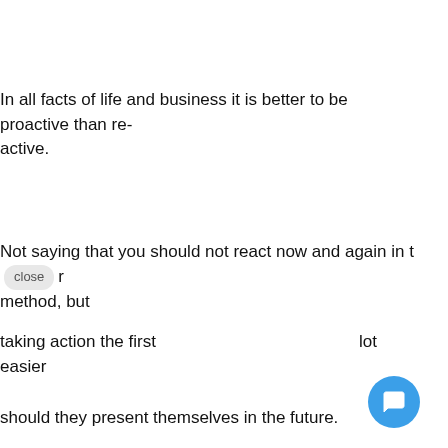In all facts of life and business it is better to be proactive than reactive.
Not saying that you should not react now and again in their method, but
taking action the first lot easier
[Figure (screenshot): Chat widget popup with avatar and text: Hi there, have a question? Text us here.]
should they present themselves in the future.